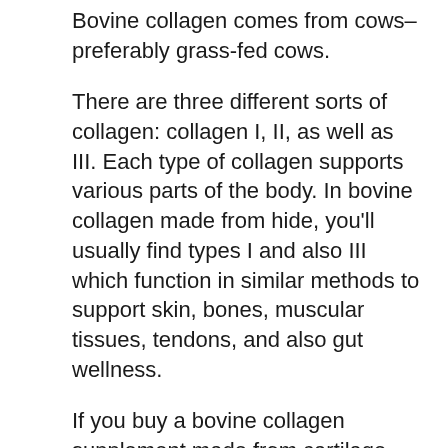Bovine collagen comes from cows–preferably grass-fed cows.
There are three different sorts of collagen: collagen I, II, as well as III. Each type of collagen supports various parts of the body. In bovine collagen made from hide, you'll usually find types I and also III which function in similar methods to support skin, bones, muscular tissues, tendons, and also gut wellness.
If you buy a bovine collagen supplement made from cartilage, connective cells, or bones, this supplement must additionally consist of collagen kind II which assists support joint health in particular.